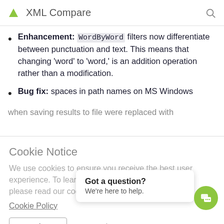XML Compare
Enhancement: WordByWord filters now differentiate between punctuation and text. This means that changing 'word' to 'word,' is an addition operation rather than a modification.
Bug fix: spaces in path names on MS Windows when saving results to file were replaced with
Cookie Notice
We use cookies to ensure you receive the best user experience. To learn more about our use of cookies please read our cookie policy.
Cookie Policy
Ok
Don't track m
Got a question? We're here to help.